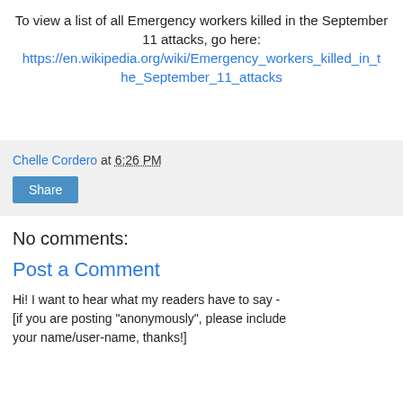To view a list of all Emergency workers killed in the September 11 attacks, go here: https://en.wikipedia.org/wiki/Emergency_workers_killed_in_the_September_11_attacks
Chelle Cordero at 6:26 PM
Share
No comments:
Post a Comment
Hi! I want to hear what my readers have to say - [if you are posting "anonymously", please include your name/user-name, thanks!]